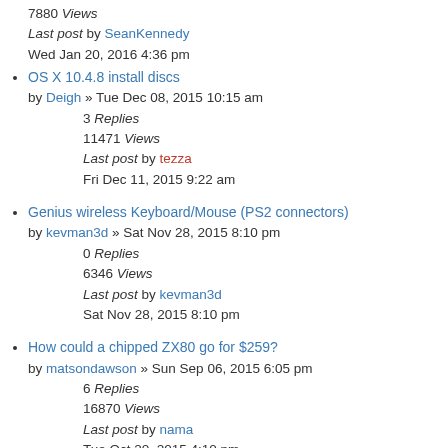7880 Views
Last post by SeanKennedy
Wed Jan 20, 2016 4:36 pm
OS X 10.4.8 install discs
by Deigh » Tue Dec 08, 2015 10:15 am
3 Replies
11471 Views
Last post by tezza
Fri Dec 11, 2015 9:22 am
Genius wireless Keyboard/Mouse (PS2 connectors)
by kevman3d » Sat Nov 28, 2015 8:10 pm
0 Replies
6346 Views
Last post by kevman3d
Sat Nov 28, 2015 8:10 pm
How could a chipped ZX80 go for $259?
by matsondawson » Sun Sep 06, 2015 6:05 pm
6 Replies
16870 Views
Last post by nama
Tue Oct 20, 2015 4:10 pm
Huge Commodore collection
by Beags » Sat Sep 12, 2015 11:36 am
5 Replies
14845 Views
Last post by kevman3d